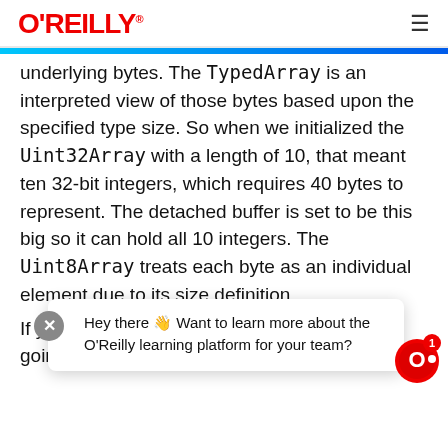O'REILLY
underlying bytes. The TypedArray is an interpreted view of those bytes based upon the specified type size. So when we initialized the Uint32Array with a length of 10, that meant ten 32-bit integers, which requires 40 bytes to represent. The detached buffer is set to be this big so it can hold all 10 integers. The Uint8Array treats each byte as an individual element due to its size definition.
Hey there 👋 Want to learn more about the O'Reilly learning platform for your team?
If you check … ully what is going … n by,